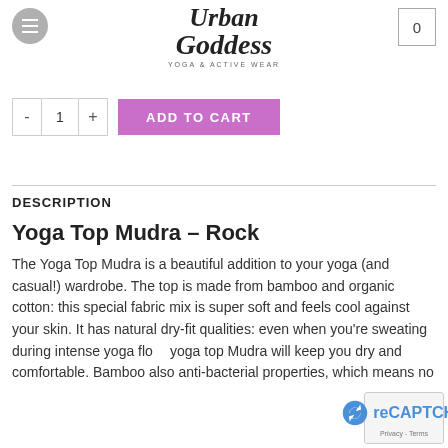Urban Goddess Yoga & Active Wear
- 1 + ADD TO CART
DESCRIPTION
Yoga Top Mudra – Rock
The Yoga Top Mudra is a beautiful addition to your yoga (and casual!) wardrobe. The top is made from bamboo and organic cotton: this special fabric mix is super soft and feels cool against your skin. It has natural dry-fit qualities: even when you're sweating during intense yoga flow, yoga top Mudra will keep you dry and comfortable. Bamboo also anti-bacterial properties, which means no